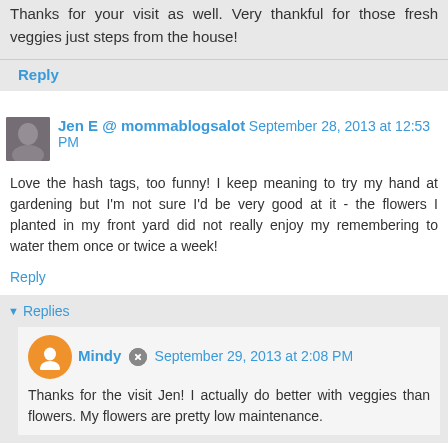Thanks for your visit as well. Very thankful for those fresh veggies just steps from the house!
Reply
Jen E @ mommablogsalot  September 28, 2013 at 12:53 PM
Love the hash tags, too funny! I keep meaning to try my hand at gardening but I'm not sure I'd be very good at it - the flowers I planted in my front yard did not really enjoy my remembering to water them once or twice a week!
Reply
Replies
Mindy  September 29, 2013 at 2:08 PM
Thanks for the visit Jen! I actually do better with veggies than flowers. My flowers are pretty low maintenance.